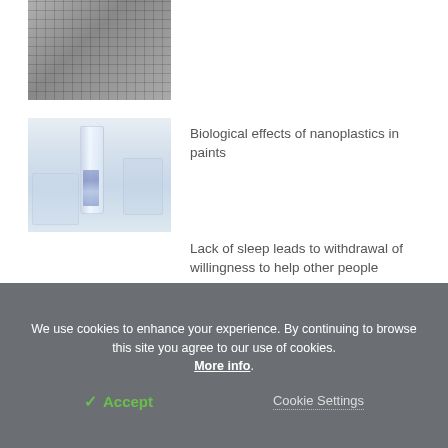[Figure (photo): Partial top view of laboratory vials or metal containers arranged in rows]
[Figure (photo): Laboratory glass test tube or vial containing blue-purple particles or microplastics, with beakers in background]
Biological effects of nanoplastics in paints
Lack of sleep leads to withdrawal of willingness to help other people
We use cookies to enhance your experience. By continuing to browse this site you agree to our use of cookies. More info.
✓ Accept
Cookie Settings